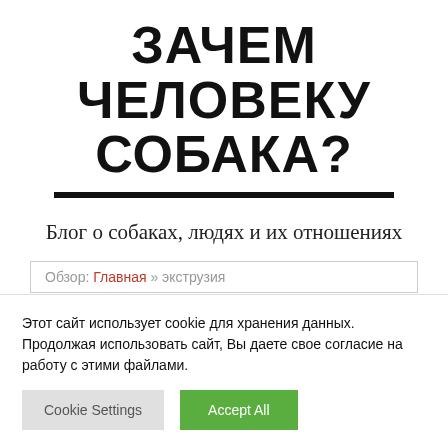ЗАЧЕМ ЧЕЛОВЕКУ СОБАКА?
Блог о собаках, людях и их отношениях
Обзор: Главная » экструзия
Этот сайт использует cookie для хранения данных. Продолжая использовать сайт, Вы даете свое согласие на работу с этими файлами.
Cookie Settings | Accept All